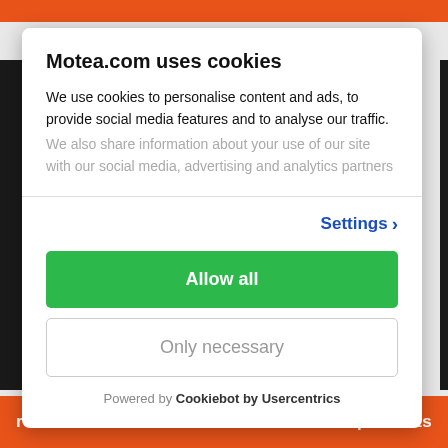Motea.com uses cookies
We use cookies to personalise content and ads, to provide social media features and to analyse our traffic.
We also share information about your use of our site with our social media, advertising and analytics partners
Settings
Allow all
Only necessary
Powered by Cookiebot by Usercentrics